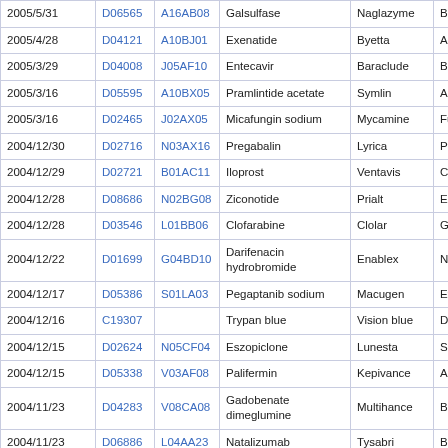| Date | D-code | A-code | Name | Brand | Company |
| --- | --- | --- | --- | --- | --- |
| 2005/5/31 | D06565 | A16AB08 | Galsulfase | Naglazyme | Bioma Pharm |
| 2005/4/28 | D04121 | A10BJ01 | Exenatide | Byetta | Amyli |
| 2005/3/29 | D04008 | J05AF10 | Entecavir | Baraclude | Bristo |
| 2005/3/16 | D05595 | A10BX05 | Pramlintide acetate | Symlin | Amyli |
| 2005/3/16 | D02465 | J02AX05 | Micafungin sodium | Mycamine | Fujisa |
| 2004/12/30 | D02716 | N03AX16 | Pregabalin | Lyrica | Pfizer |
| 2004/12/29 | D02721 | B01AC11 | Iloprost | Ventavis | Cothe |
| 2004/12/28 | D08686 | N02BG08 | Ziconotide | Prialt | Elan P |
| 2004/12/28 | D03546 | L01BB06 | Clofarabine | Clolar | Genzy |
| 2004/12/22 | D01699 | G04BD10 | Darifenacin hydrobromide | Enablex | Novar |
| 2004/12/17 | D05386 | S01LA03 | Pegaptanib sodium | Macugen | Eyete |
| 2004/12/16 | C19307 |  | Trypan blue | Vision blue | Dorc b |
| 2004/12/15 | D02624 | N05CF04 | Eszopiclone | Lunesta | Sepra |
| 2004/12/15 | D05338 | V03AF08 | Palifermin | Kepivance | Amge |
| 2004/11/23 | D04283 | V08CA08 | Gadobenate dimeglumine | Multihance | Bracc |
| 2004/11/23 | D06886 | L04AA23 | Natalizumab | Tysabri | Bioge |
| 2004/11/19 | D01269 | G04BD08 | Solifenacin succinate | VESIcare | Yama |
| 2004/11/18 | D04023 | L01EB02 | Erlotinib hydrochloride | Tarceva | OSI P |
| 2004/11/10 | D05255 |  | Omega-3-acid ethyl esters | Omacor | Ross |
| 2004/10/28 | D04067 | V08AF08 | Lanthanum carbonate | Fosrenal | Shi |